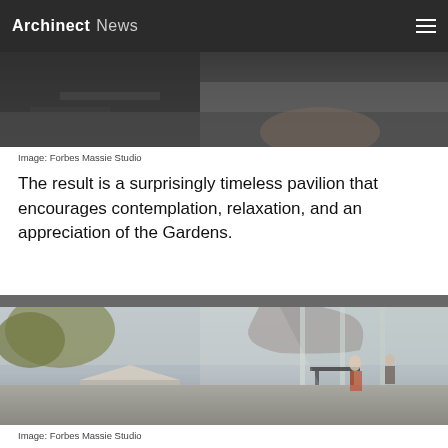Archinect News
[Figure (photo): Architectural rendering showing a dark paved outdoor terrace area of a pavilion building]
Image: Forbes Massie Studio
The result is a surprisingly timeless pavilion that encourages contemplation, relaxation, and an appreciation of the Gardens.
[Figure (photo): Architectural rendering of a glass-walled pavilion interior with people seated, looking out toward a garden landscape with a castle in the background]
Image: Forbes Massie Studio